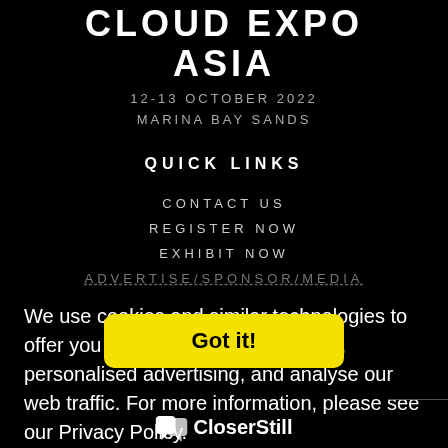CLOUD EXPO ASIA
12-13 OCTOBER 2022
MARINA BAY SANDS
QUICK LINKS
CONTACT US
REGISTER NOW
EXHIBIT NOW
ADVERTISE/SPONSOR/MEDIA
We use cookies and similar technologies to offer you a personalised experience, personalised advertising, and analyse our web traffic. For more information, please see our Privacy Policy.
Privacy Policy
Got it!
[Figure (logo): CloserStill Media logo with quotation mark icon]